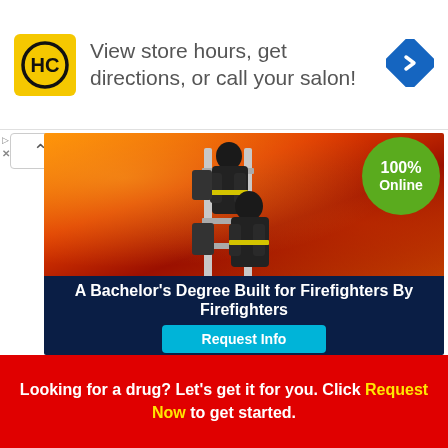[Figure (logo): HC (Hair Cuttery) yellow square logo with black circular HC letters]
View store hours, get directions, or call your salon!
[Figure (illustration): Blue diamond navigation/directions icon]
[Figure (photo): Two firefighters in full gear climbing a ladder against a wall of flames, with a green '100% Online' circular badge in the top right corner]
A Bachelor’s Degree Built for Firefighters By Firefighters
Request Info
Looking for a drug? Let’s get it for you. Click Request Now to get started.